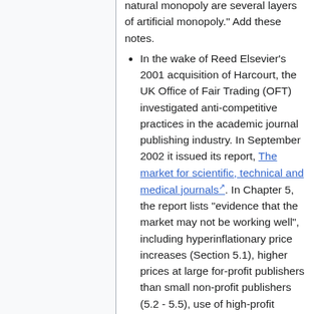natural monopoly are several layers of artificial monopoly." Add these notes.
In the wake of Reed Elsevier's 2001 acquisition of Harcourt, the UK Office of Fair Trading (OFT) investigated anti-competitive practices in the academic journal publishing industry. In September 2002 it issued its report, The market for scientific, technical and medical journals. In Chapter 5, the report lists "evidence that the market may not be working well", including hyperinflationary price increases (Section 5.1), higher prices at large for-profit publishers than small non-profit publishers (5.2 - 5.5), use of high-profit journals to